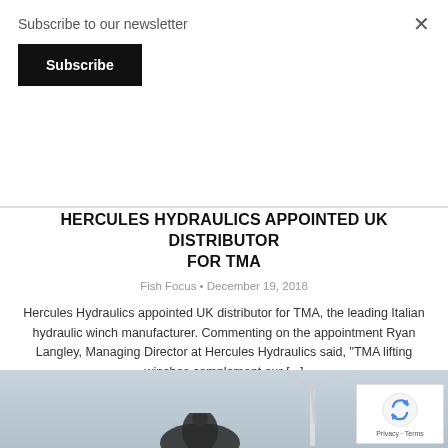Subscribe to our newsletter
Subscribe
HERCULES HYDRAULICS APPOINTED UK DISTRIBUTOR FOR TMA
Fish Focus • December 19, 2018
Hercules Hydraulics appointed UK distributor for TMA, the leading Italian hydraulic winch manufacturer. Commenting on the appointment Ryan Langley, Managing Director at Hercules Hydraulics said, "TMA lifting winches complement our [...]
[Figure (photo): Outdoor photo showing overcast sky with wind turbines and a person visible at bottom, grey/blue tones]